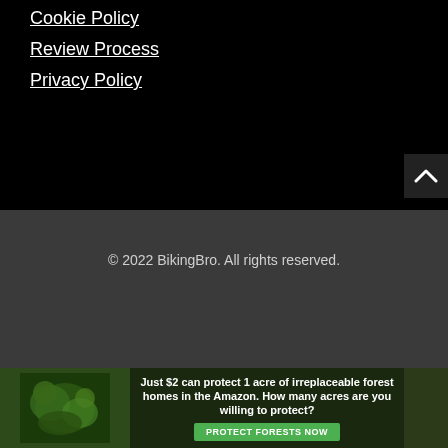Cookie Policy
Review Process
Privacy Policy
© 2022 BikingBro. All rights reserved.
[Figure (other): Scroll to top button with upward chevron arrow on dark background]
[Figure (other): Advertisement banner: Just $2 can protect 1 acre of irreplaceable forest homes in the Amazon. How many acres are you willing to protect? PROTECT FORESTS NOW button, with rainforest imagery]